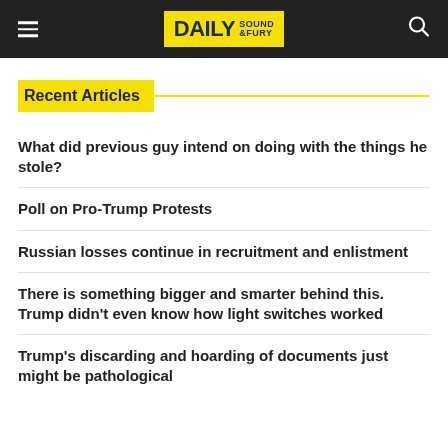Daily Sound & Fury
Recent Articles
What did previous guy intend on doing with the things he stole?
Poll on Pro-Trump Protests
Russian losses continue in recruitment and enlistment
There is something bigger and smarter behind this. Trump didn't even know how light switches worked
Trump's discarding and hoarding of documents just might be pathological